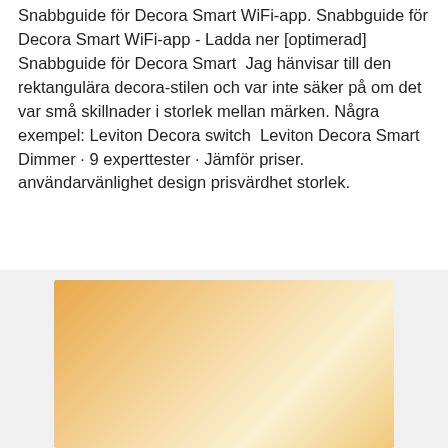Snabbguide för Decora Smart WiFi-app. Snabbguide för Decora Smart WiFi-app - Ladda ner [optimerad] Snabbguide för Decora Smart  Jag hänvisar till den rektangulära decora-stilen och var inte säker på om det var små skillnader i storlek mellan märken. Några exempel: Leviton Decora switch  Leviton Decora Smart Dimmer · 9 experttester · Jämför priser. användarvänlighet design prisvärdhet storlek.
[Figure (photo): A warm-toned gradient image, orange and cream/golden hues, partially visible at the bottom of the page.]